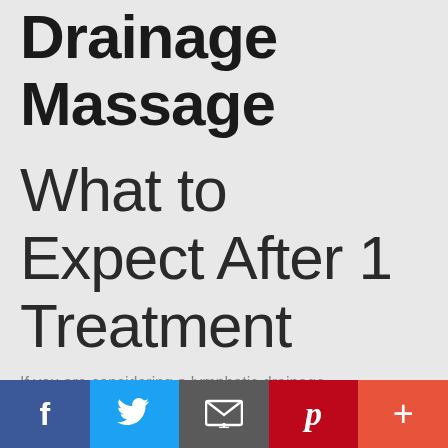Drainage Massage
What to Expect After 1 Treatment
If you are considering a lymphatic drainage massage, you may be wondering what to
Social share bar: Facebook, Twitter, Email, Pinterest, More